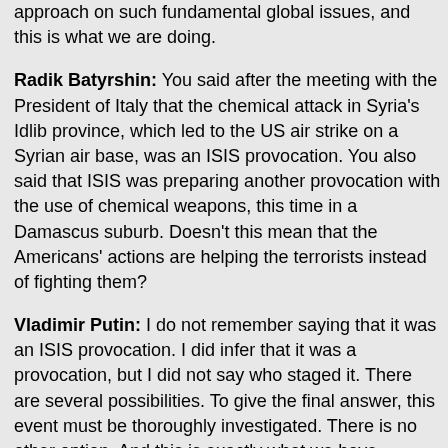approach on such fundamental global issues, and this is what we are doing.
Radik Batyrshin: You said after the meeting with the President of Italy that the chemical attack in Syria's Idlib province, which led to the US air strike on a Syrian air base, was an ISIS provocation. You also said that ISIS was preparing another provocation with the use of chemical weapons, this time in a Damascus suburb. Doesn't this mean that the Americans' actions are helping the terrorists instead of fighting them?
Vladimir Putin: I do not remember saying that it was an ISIS provocation. I did infer that it was a provocation, but I did not say who staged it. There are several possibilities. To give the final answer, this event must be thoroughly investigated. There is no other option. And this is exactly what we have proposed doing.
Moreover, everyone knows very well that a major project was completed at the Russian and US initiative to liquidate the chemical weapons in the possession of the Syrian authorities. They have